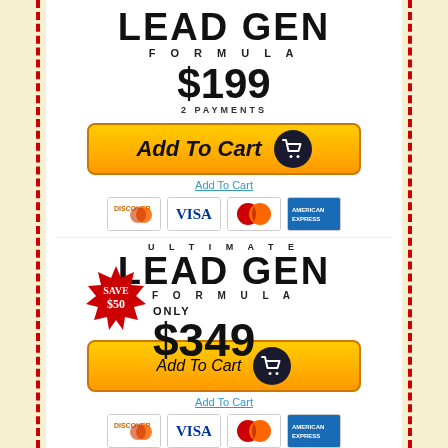LEAD GEN FORMULA
$199 2 PAYMENTS
[Figure (other): Orange Add To Cart button with cart icon]
Add To Cart
[Figure (other): Credit card logos: Discover, Visa, MasterCard, American Express]
ULTIMATE LEAD GEN FORMULA
ONLY $349 SAVE $50
[Figure (other): Orange Add To Cart button with cart icon]
Add To Cart
[Figure (other): Credit card logos: Discover, Visa, MasterCard, American Express]